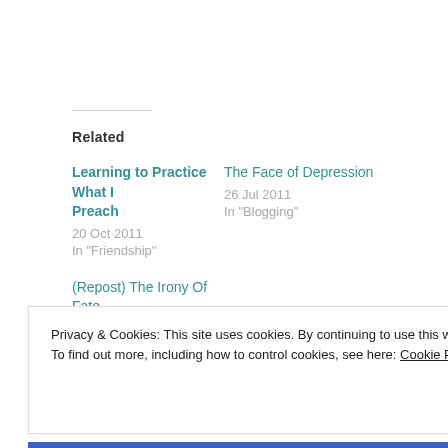Related
Learning to Practice What I Preach
20 Oct 2011
In "Friendship"
The Face of Depression
26 Jul 2011
In "Blogging"
(Repost) The Irony Of Fate
16 Nov 2011
In "Blogging"
POSTED IN DEATH, LIFE, LOVE, MEMORIES, PERSONAL
Privacy & Cookies: This site uses cookies. By continuing to use this website, you agree to their use.
To find out more, including how to control cookies, see here: Cookie Policy
Close and accept